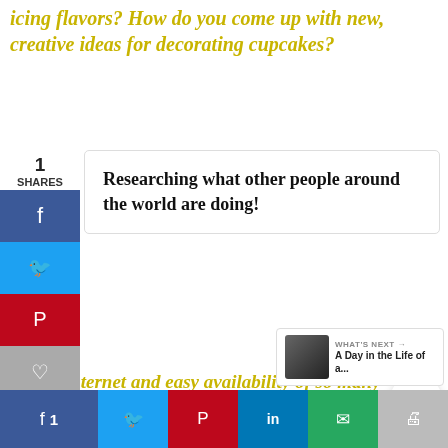icing flavors? How do you come up with new, creative ideas for decorating cupcakes?
[Figure (other): Social share sidebar with 1 share count and Facebook, Twitter, Pinterest, heart buttons]
Researching what other people around the world are doing!
ith the internet and easy availability of so many apes and decorating ideas, how do you come up h new and unique recipes that someone else sn't already done?
[Figure (other): Floating right side heart and share circle buttons with count 3]
Luckily there's a huge gap in the
[Figure (other): What's Next panel: A Day in the Life of a...]
[Figure (other): Bottom share bar with Facebook 1, Twitter, Pinterest, LinkedIn, email, print buttons]